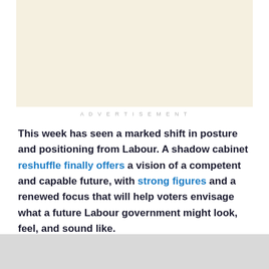[Figure (other): Advertisement placeholder box with cream/off-white background]
ADVERTISEMENT
This week has seen a marked shift in posture and positioning from Labour. A shadow cabinet reshuffle finally offers a vision of a competent and capable future, with strong figures and a renewed focus that will help voters envisage what a future Labour government might look, feel, and sound like.